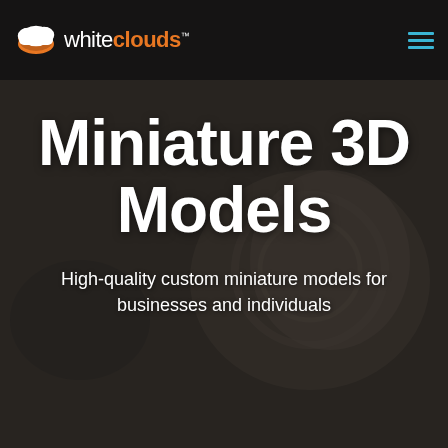[Figure (screenshot): Background photo of 3D printed miniature model on a dark table, dimmed with dark overlay]
whiteclouds™
Miniature 3D Models
High-quality custom miniature models for businesses and individuals